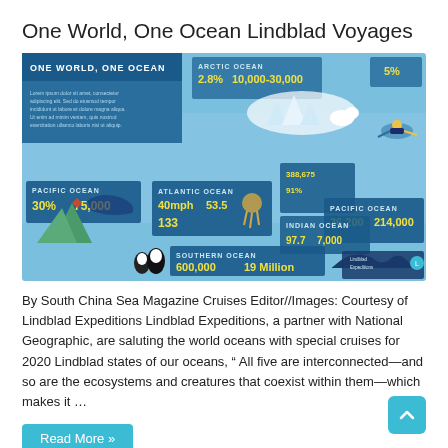One World, One Ocean Lindblad Voyages
[Figure (infographic): One World, One Ocean infographic showing five oceans with statistics. Arctic Ocean: 2.8%, 10,000-30,000. Pacific Ocean (left): 30%, 75,000. Atlantic Ocean: 40mph, 53.5, 133. Indian Ocean: 97.7, 7,000. Pacific Ocean (right): 36,200, 214,000. Southern Ocean: 600,000, 19 Million. Features illustrations of marine life, penguins, a diver, whale, fish, and underwater scenery.]
By South China Sea Magazine Cruises Editor//Images: Courtesy of Lindblad Expeditions Lindblad Expeditions, a partner with National Geographic, are saluting the world oceans with special cruises for 2020 Lindblad states of our oceans, “ All five are interconnected—and so are the ecosystems and creatures that coexist within them—which makes it …
Read More »